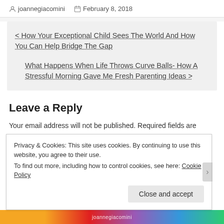joannegiacomini  February 8, 2018
< How Your Exceptional Child Sees The World And How You Can Help Bridge The Gap
What Happens When Life Throws Curve Balls- How A Stressful Morning Gave Me Fresh Parenting Ideas >
Leave a Reply
Your email address will not be published. Required fields are
Privacy & Cookies: This site uses cookies. By continuing to use this website, you agree to their use. To find out more, including how to control cookies, see here: Cookie Policy
Close and accept